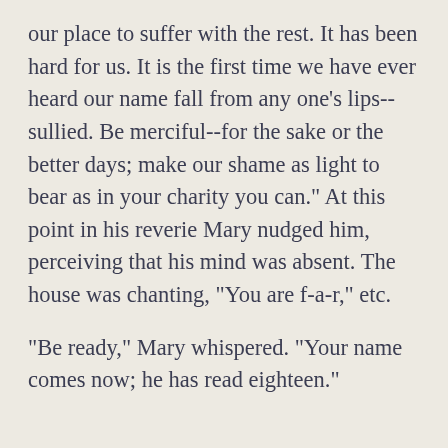our place to suffer with the rest. It has been hard for us. It is the first time we have ever heard our name fall from any one's lips--sullied. Be merciful--for the sake or the better days; make our shame as light to bear as in your charity you can." At this point in his reverie Mary nudged him, perceiving that his mind was absent. The house was chanting, "You are f-a-r," etc.
"Be ready," Mary whispered. "Your name comes now; he has read eighteen."